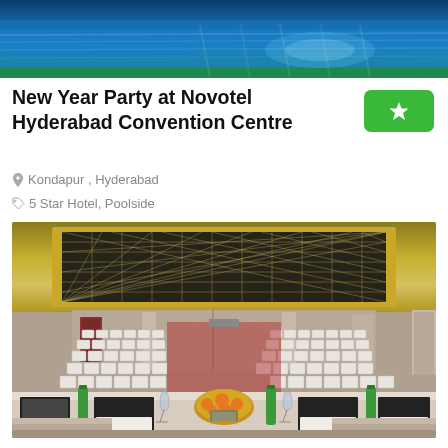[Figure (photo): Swimming pool with blue water and green border at top of page]
New Year Party at Novotel Hyderabad Convention Centre
Kondapur , Hyderabad
5 Star Hotel, Poolside
[Figure (photo): Interior of Novotel Hyderabad Convention Centre showing large banquet/conference hall with crystal chandelier ceiling, rows of white chairs, and a head table with flower arrangements and water bottles]